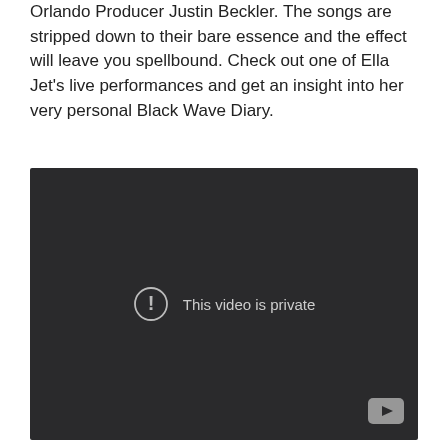Orlando Producer Justin Beckler. The songs are stripped down to their bare essence and the effect will leave you spellbound. Check out one of Ella Jet's live performances and get an insight into her very personal Black Wave Diary.
[Figure (screenshot): Embedded video player with dark background showing 'This video is private' message with an exclamation mark icon and a YouTube logo in the bottom-right corner.]